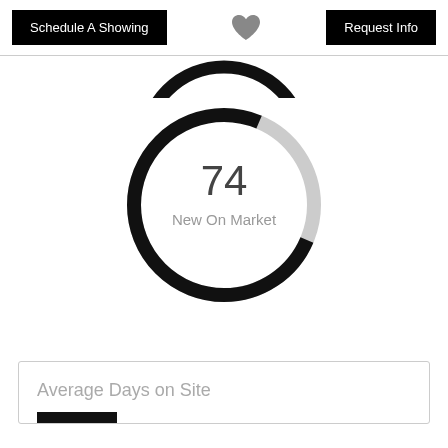Schedule A Showing | [heart] | Request Info
[Figure (donut-chart): Donut chart showing 74 New On Market listings]
Average Days on Site